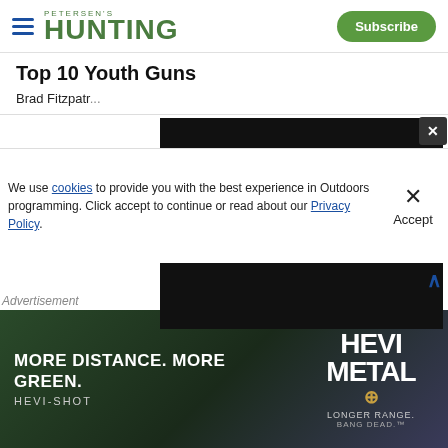Petersen's Hunting | Subscribe
Top 10 Youth Guns
Brad Fitzpatr...
[Figure (screenshot): Black video player overlay with close (X) button in top-right corner]
We use cookies to provide you with the best experience in Outdoors programming. Click accept to continue or read about our Privacy Policy.
Advertisement
[Figure (photo): HEVI-SHOT HEVI METAL advertisement: MORE DISTANCE. MORE GREEN. HEVI-SHOT. LONGER RANGE. BANG DEAD.]